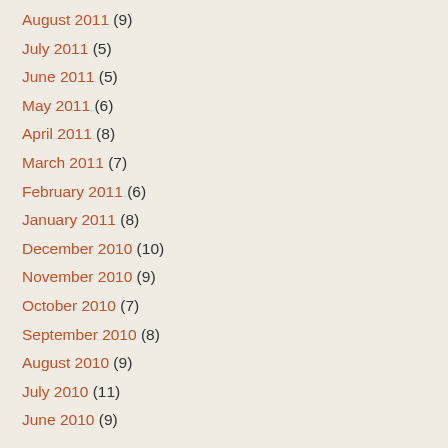August 2011 (9)
July 2011 (5)
June 2011 (5)
May 2011 (6)
April 2011 (8)
March 2011 (7)
February 2011 (6)
January 2011 (8)
December 2010 (10)
November 2010 (9)
October 2010 (7)
September 2010 (8)
August 2010 (9)
July 2010 (11)
June 2010 (9)